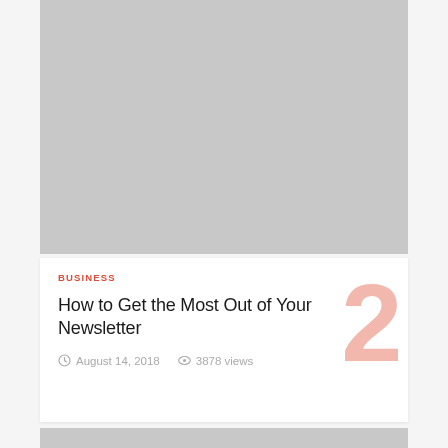[Figure (photo): Gray placeholder image at top of article card]
BUSINESS
How to Get the Most Out of Your Newsletter
August 14, 2018   3878 views
[Figure (photo): Gray placeholder image at bottom, partially visible]